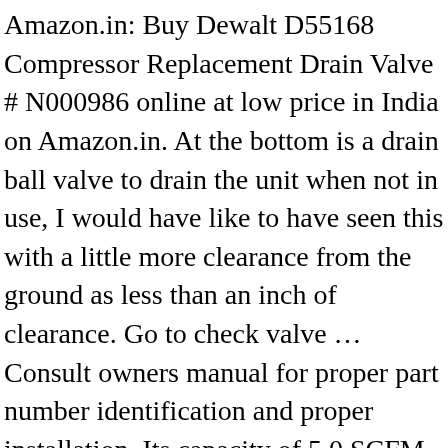Amazon.in: Buy Dewalt D55168 Compressor Replacement Drain Valve # N000986 online at low price in India on Amazon.in. At the bottom is a drain ball valve to drain the unit when not in use, I would have like to have seen this with a little more clearance from the ground as less than an inch of clearance. Go to check valve … Consult owners manual for proper part number identification and proper installation. Its capacity of 5.0 SCFM at 90 psi guarantees quick recovery times, while the 225 psi max tank pressure allows for longer air tool